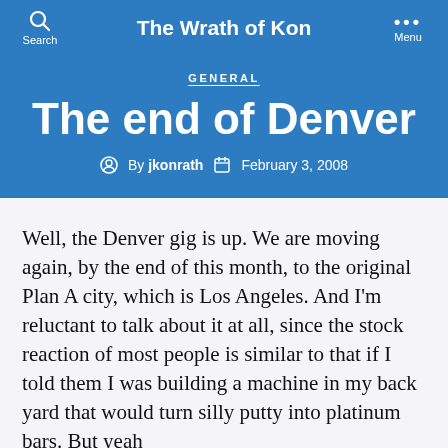The Wrath of Kon
GENERAL
The end of Denver
By jkonrath   February 3, 2008
Well, the Denver gig is up. We are moving again, by the end of this month, to the original Plan A city, which is Los Angeles. And I'm reluctant to talk about it at all, since the stock reaction of most people is similar to that if I told them I was building a machine in my back yard that would turn silly putty into platinum bars. But yeah